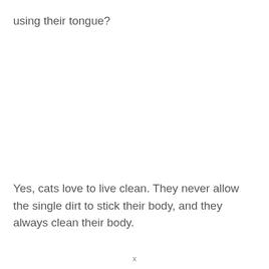using their tongue?
Yes, cats love to live clean. They never allow the single dirt to stick their body, and they always clean their body.
x